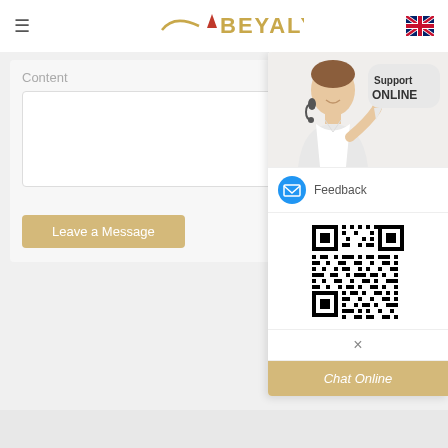[Figure (logo): BEYALY brand logo in gold with decorative swoosh and red triangle accent]
[Figure (illustration): UK flag / British flag icon for language selection]
Content
Leave a Message
[Figure (photo): Customer support representative with headset smiling, with Support ONLINE speech bubble]
Feedback
[Figure (other): QR code for WeChat or contact scan]
×
Chat Online